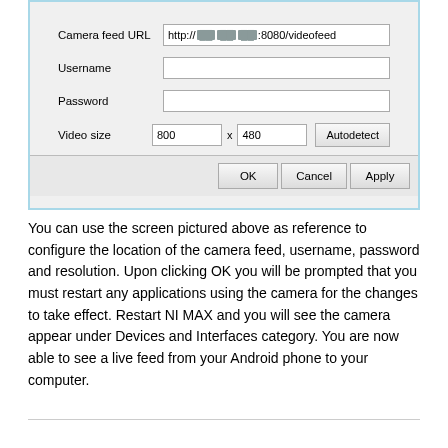[Figure (screenshot): A software dialog window for configuring a camera feed. Fields include Camera feed URL (http://[redacted]:8080/videofeed), Username (empty), Password (empty), Video size (800 x 480) with an Autodetect button. Dialog buttons: OK, Cancel, Apply.]
You can use the screen pictured above as reference to configure the location of the camera feed, username, password and resolution. Upon clicking OK you will be prompted that you must restart any applications using the camera for the changes to take effect. Restart NI MAX and you will see the camera appear under Devices and Interfaces category. You are now able to see a live feed from your Android phone to your computer.